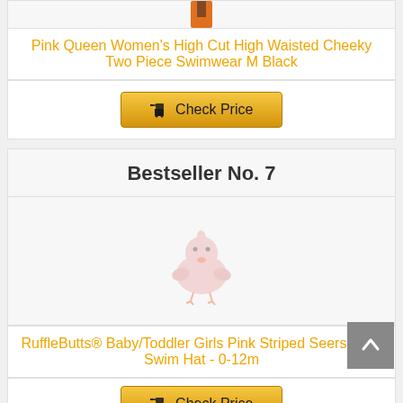[Figure (photo): Partial product image at top of page (cropped)]
Pink Queen Women's High Cut High Waisted Cheeky Two Piece Swimwear M Black
Check Price (button)
Bestseller No. 7
[Figure (photo): RuffleButts product image - pink chick/bird logo]
RuffleButts® Baby/Toddler Girls Pink Striped Seersucker Swim Hat - 0-12m
Check Price (button)